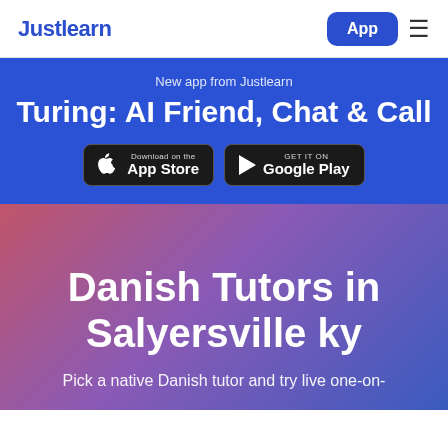Justlearn
New app from Justlearn
Turing: AI Friend, Chat & Call
[Figure (screenshot): App Store and Google Play download buttons]
Danish Tutors in Salyersville ky
Pick a native Danish tutor and try live one-on-